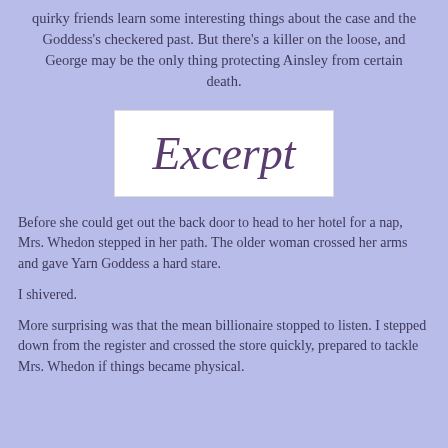quirky friends learn some interesting things about the case and the Goddess's checkered past. But there's a killer on the loose, and George may be the only thing protecting Ainsley from certain death.
[Figure (illustration): White rectangle containing the word 'Excerpt' in purple cursive/script font]
Before she could get out the back door to head to her hotel for a nap, Mrs. Whedon stepped in her path. The older woman crossed her arms and gave Yarn Goddess a hard stare.
I shivered.
More surprising was that the mean billionaire stopped to listen. I stepped down from the register and crossed the store quickly, prepared to tackle Mrs. Whedon if things became physical.